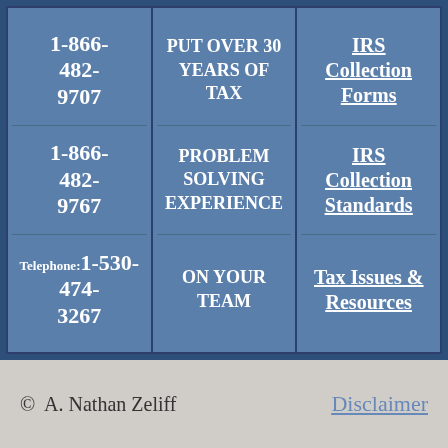1-866-482-9707
PUT OVER 30 YEARS OF TAX
IRS Collection Forms
1-866-482-9767
PROBLEM SOLVING EXPERIENCE
IRS Collection Standards
Telephone: 1-530-474-3267
ON YOUR TEAM
Tax Issues & Resources
© A. Nathan Zeliff   Disclaimer